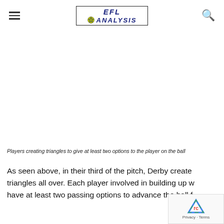EFL ANALYSIS
[Figure (other): Blank white area representing a soccer/football pitch diagram showing players creating triangles (image content not visible in this crop)]
Players creating triangles to give at least two options to the player on the ball
As seen above, in their third of the pitch, Derby create triangles all over. Each player involved in building up w have at least two passing options to advance the ball f...